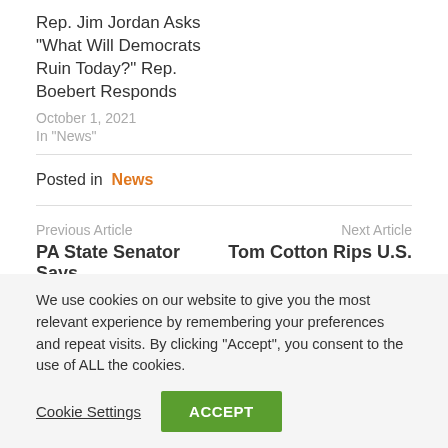Rep. Jim Jordan Asks “What Will Democrats Ruin Today?” Rep. Boebert Responds
October 1, 2021
In “News”
Posted in News
Previous Article
PA State Senator Says
Next Article
Tom Cotton Rips U.S.
We use cookies on our website to give you the most relevant experience by remembering your preferences and repeat visits. By clicking “Accept”, you consent to the use of ALL the cookies.